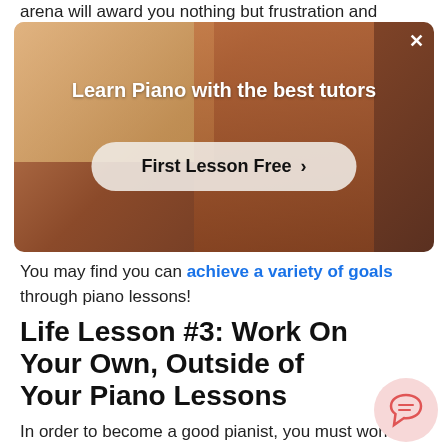arena will award you nothing but frustration and
[Figure (advertisement): Advertisement banner showing a person playing piano with text 'Learn Piano with the best tutors' and a 'First Lesson Free >' button. Has a close (X) button in the top right corner.]
You may find you can achieve a variety of goals through piano lessons!
Life Lesson #3: Work On Your Own, Outside of Your Piano Lessons
In order to become a good pianist, you must work